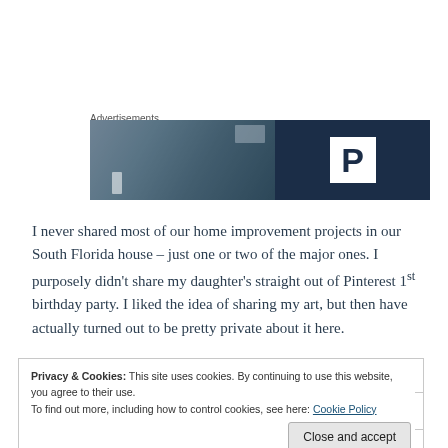Advertisements
[Figure (photo): Advertisement banner: left half shows a blurred indoor/outdoor scene with dark tones, right half shows a dark navy background with a white square containing a bold 'P' letter (Pinterest logo style).]
I never shared most of our home improvement projects in our South Florida house – just one or two of the major ones. I purposely didn't share my daughter's straight out of Pinterest 1st birthday party. I liked the idea of sharing my art, but then have actually turned out to be pretty private about it here.
Privacy & Cookies: This site uses cookies. By continuing to use this website, you agree to their use.
To find out more, including how to control cookies, see here: Cookie Policy
Close and accept